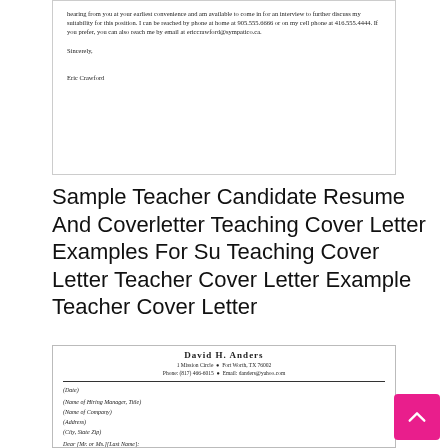[Figure (screenshot): Top portion of a cover letter document showing closing paragraph, 'Sincerely,' and signature 'Eric Crawford']
Sample Teacher Candidate Resume And Coverletter Teaching Cover Letter Examples For Su Teaching Cover Letter Teacher Cover Letter Example Teacher Cover Letter
[Figure (screenshot): Second cover letter document with header 'David H. Anders', address, phone, email, and beginning of letter body with date, hiring manager address block, salutation, and opening paragraph.]